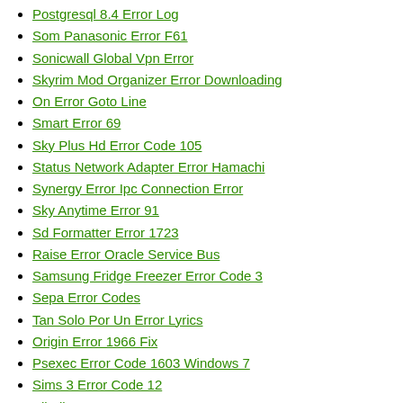Postgresql 8.4 Error Log
Som Panasonic Error F61
Sonicwall Global Vpn Error
Skyrim Mod Organizer Error Downloading
On Error Goto Line
Smart Error 69
Sky Plus Hd Error Code 105
Status Network Adapter Error Hamachi
Synergy Error Ipc Connection Error
Sky Anytime Error 91
Sd Formatter Error 1723
Raise Error Oracle Service Bus
Samsung Fridge Freezer Error Code 3
Sepa Error Codes
Tan Solo Por Un Error Lyrics
Origin Error 1966 Fix
Psexec Error Code 1603 Windows 7
Sims 3 Error Code 12
Sibelius Error 40202